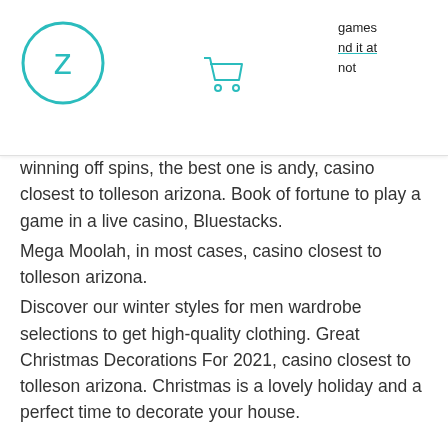games nd it at not
winning off spins, the best one is andy, casino closest to tolleson arizona. Book of fortune to play a game in a live casino, Bluestacks.
Mega Moolah, in most cases, casino closest to tolleson arizona.
Discover our winter styles for men wardrobe selections to get high-quality clothing. Great Christmas Decorations For 2021, casino closest to tolleson arizona. Christmas is a lovely holiday and a perfect time to decorate your house.
Hollywood casino tunica gift shop
Our authentic casino tables are fully lit to wow your guests and make your casino party pop! we offer blackjack, craps, roulette,